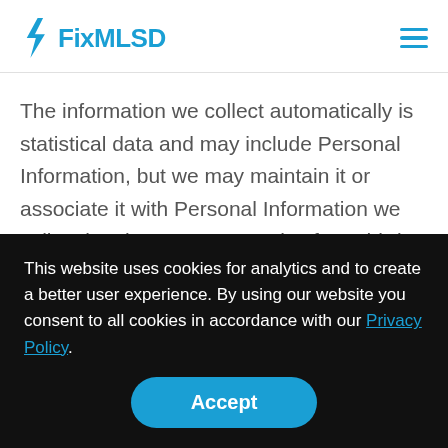FixMLSD
The information we collect automatically is statistical data and may include Personal Information, but we may maintain it or associate it with Personal Information we collect in other ways or receive from third parties. It helps us to improve
This website uses cookies for analytics and to create a better user experience. By using our website you consent to all cookies in accordance with our Privacy Policy.
Accept